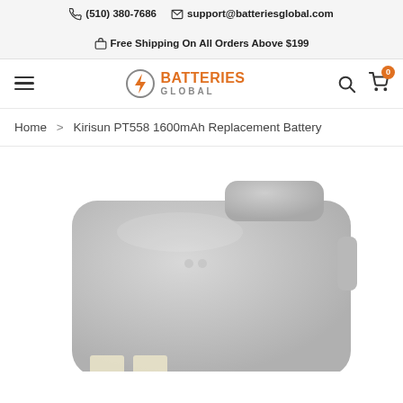(510) 380-7686  support@batteriesglobal.com  Free Shipping On All Orders Above $199
[Figure (logo): Batteries Global logo with lightning bolt icon, orange BATTERIES text and grey GLOBAL text]
Home > Kirisun PT558 1600mAh Replacement Battery
[Figure (photo): Grey Kirisun PT558 1600mAh replacement battery pack, rectangular with rounded corners, shown at an angle with metal contacts visible at bottom]